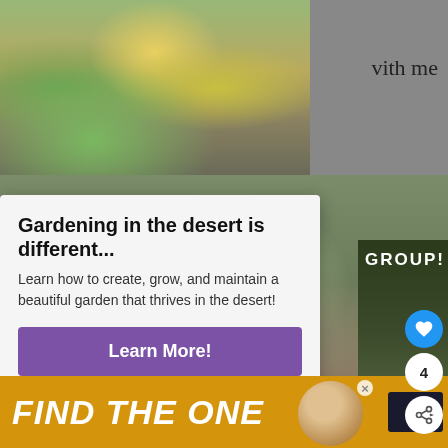[Figure (photo): Garden photo top-left showing desert garden with plants and yellow pot]
with me
[Figure (photo): Right side column showing garden/nature photo with GROUP! text overlay]
Gardening in the desert is different...
Learn how to create, grow, and maintain a beautiful garden that thrives in the desert!
Learn More!
X CLOSE
[Figure (photo): Large garden photo with purple flowers and overlay text DIRT ON DESERT GARDENING]
DIRT ON
DESERT GARDENING
[Figure (photo): Bottom advertisement banner: FIND THE ONE with dog photo and close button]